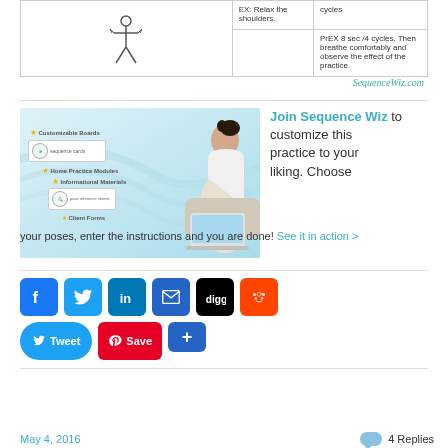[Figure (table-as-image): Partial yoga pose table row with pose icon, instruction label and breathing instructions]
[Figure (illustration): SequenceWiz.com watermark/logo]
[Figure (photo): Promotional image showing woman on laptop with floating feature cards (Customizable Boards, Home Practice Modules, Informational Materials, Client Forms) on a light blue background]
Join Sequence Wiz to customize this practice to your liking. Choose your poses, enter the instructions and you are done! See it in action >
[Figure (infographic): Social sharing buttons: Facebook, Twitter, LinkedIn, Email, Digg, Reddit icons, Tweet button, Pinterest Save button, Add button]
May 4, 2016
4 Replies